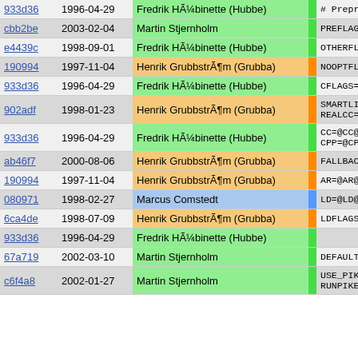| Hash | Date | Author | Bar | Code |
| --- | --- | --- | --- | --- |
| 933d36 | 1996-04-29 | Fredrik HÃ¼binette (Hubbe) | | | # Preproce |
| cbb2be | 2003-02-04 | Martin Stjernholm | | | PREFLAGS=- |
| e4439c | 1998-09-01 | Fredrik HÃ¼binette (Hubbe) | | | OTHERFLAGS |
| 190994 | 1997-11-04 | Henrik GrubbstrÃ¶m (Grubba) | | | NOOPTFLAGS |
| 933d36 | 1996-04-29 | Fredrik HÃ¼binette (Hubbe) | | | CFLAGS=$(P |
| 902adf | 1998-01-23 | Henrik GrubbstrÃ¶m (Grubba) | | | SMARTLINK=
REALCC=@RE |
| 933d36 | 1996-04-29 | Fredrik HÃ¼binette (Hubbe) | | | CC=@CC@
CPP=@CPP@ |
| ab46f7 | 2000-08-06 | Henrik GrubbstrÃ¶m (Grubba) | | | FALLBACK_C |
| 190994 | 1997-11-04 | Henrik GrubbstrÃ¶m (Grubba) | | | AR=@AR@ |
| 080971 | 1998-02-27 | Marcus Comstedt | | | LD=@LD@ |
| 6ca4de | 1998-07-09 | Henrik GrubbstrÃ¶m (Grubba) | | | LDFLAGS=@L |
| 933d36 | 1996-04-29 | Fredrik HÃ¼binette (Hubbe) | | |  |
| 67a719 | 2002-03-10 | Martin Stjernholm | | | DEFAULT_RU |
| c6f4a8 | 2002-01-27 | Martin Stjernholm | | | USE_PIKE=p
RUNPIKE=$( |